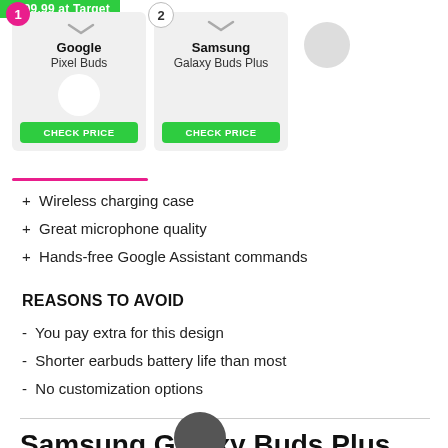$199.99 at Target
1 Google Pixel Buds CHECK PRICE | 2 Samsung Galaxy Buds Plus CHECK PRICE
+ Wireless charging case
+ Great microphone quality
+ Hands-free Google Assistant commands
REASONS TO AVOID
- You pay extra for this design
- Shorter earbuds battery life than most
- No customization options
Samsung Galaxy Buds Plus